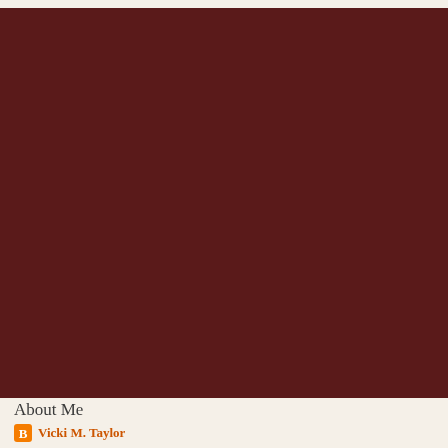[Figure (photo): Large dark maroon/burgundy background image filling most of the page]
About Me
Vicki M. Taylor